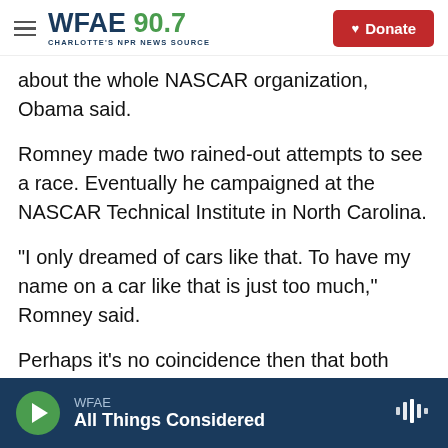WFAE 90.7 — Charlotte's NPR News Source | Donate
about the whole NASCAR organization, Obama said.
Romney made two rained-out attempts to see a race. Eventually he campaigned at the NASCAR Technical Institute in North Carolina.
"I only dreamed of cars like that. To have my name on a car like that is just too much," Romney said.
Perhaps it's no coincidence then that both men at the bottom of the ticket, Joe Biden and Paul Ryan, specialize in relating to working-class guys.
WFAE — All Things Considered